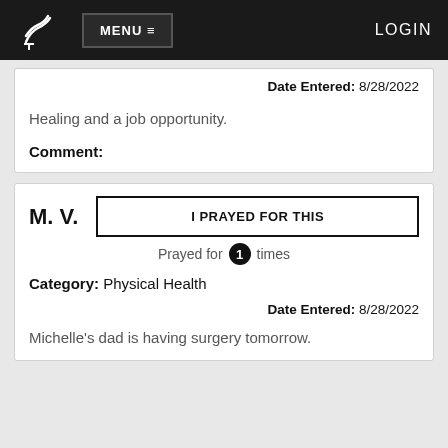MENU  LOGIN
Date Entered: 8/28/2022
Healing and a job opportunity.
Comment:
M. V.
I PRAYED FOR THIS
Prayed for 1 times
Category: Physical Health
Date Entered: 8/28/2022
Michelle's dad is having surgery tomorrow.